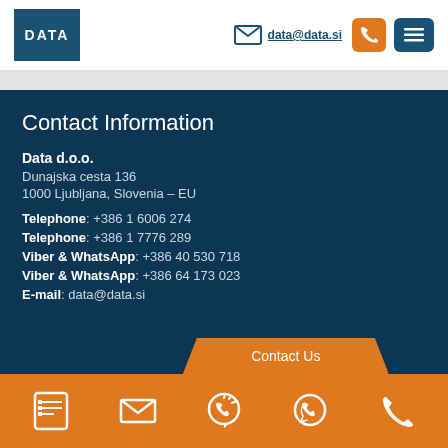[Figure (logo): DATA company logo - blue square with white bold text 'DATA']
data@data.si
Contact Information
Data d.o.o.
Dunajska cesta 136
1000 Ljubljana, Slovenia – EU
Telephone: +386 1 6006 274
Telephone: +386 1 7776 289
Viber & WhatsApp: +386 40 530 718
Viber & WhatsApp: +386 64 173 023
E-mail: data@data.si
[Figure (infographic): Orange footer bar with white icons: list/form icon, mail envelope icon, Viber icon, WhatsApp icon, phone handset icon]